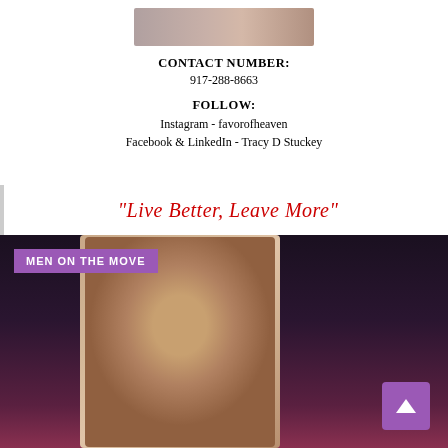[Figure (photo): Partial photo of a person at the top of the page, cropped]
CONTACT NUMBER:
917-288-8663
FOLLOW:
Instagram - favorofheaven
Facebook & LinkedIn - Tracy D Stuckey
"Live Better, Leave More"
[Figure (photo): MEN ON THE MOVE section with a portrait photo of a man in a suit against a dark purple/maroon gradient background]
MEN ON THE MOVE